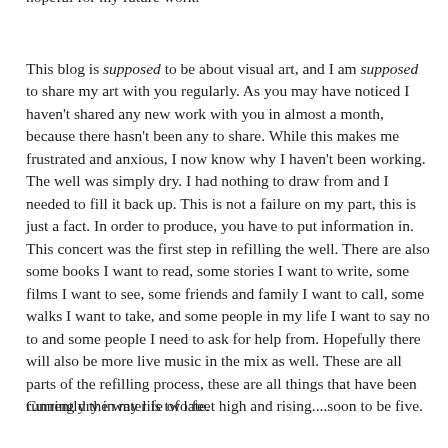hopeful for my future work.
This blog is supposed to be about visual art, and I am supposed to share my art with you regularly. As you may have noticed I haven't shared any new work with you in almost a month, because there hasn't been any to share. While this makes me frustrated and anxious, I now know why I haven't been working. The well was simply dry. I had nothing to draw from and I needed to fill it back up. This is not a failure on my part, this is just a fact. In order to produce, you have to put information in. This concert was the first step in refilling the well. There are also some books I want to read, some stories I want to write, some films I want to see, some friends and family I want to call, some walks I want to take, and some people in my life I want to say no to and some people I need to ask for help from. Hopefully there will also be more live music in the mix as well. These are all parts of the refilling process, these are all things that have been running dry in my life of late.
Currently the water is two feet high and rising....soon to be five.